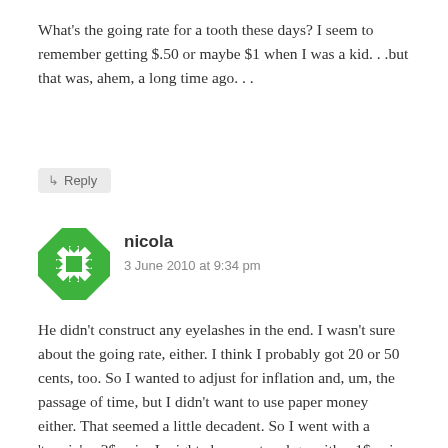What's the going rate for a tooth these days? I seem to remember getting $.50 or maybe $1 when I was a kid. . .but that was, ahem, a long time ago. . .
↳ Reply
[Figure (other): Green and white decorative avatar icon with geometric star/snowflake pattern]
nicola
3 June 2010 at 9:34 pm
He didn't construct any eyelashes in the end. I wasn't sure about the going rate, either. I think I probably got 20 or 50 cents, too. So I wanted to adjust for inflation and, um, the passage of time, but I didn't want to use paper money either. That seemed a little decadent. So I went with a 'toonie'..a 2$ coin. I might cheap out and go with a 1$ coin